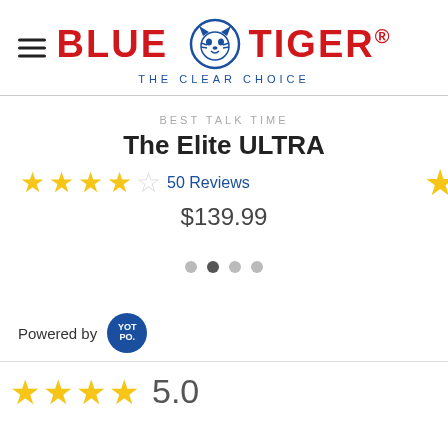[Figure (logo): Blue Tiger logo with tiger face icon and tagline THE CLEAR CHOICE]
BEST TALK TIME
The Elite ULTRA
★★★★☆ 50 Reviews
$139.99
[Figure (other): Carousel navigation dots, second dot active]
Powered by YOTPO
[Figure (other): Bottom star rating row showing 4 gold stars and score 5.0]